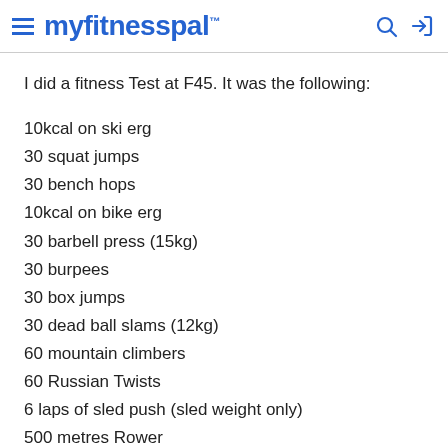myfitnesspal
I did a fitness Test at F45. It was the following:
10kcal on ski erg
30 squat jumps
30 bench hops
10kcal on bike erg
30 barbell press (15kg)
30 burpees
30 box jumps
30 dead ball slams (12kg)
60 mountain climbers
60 Russian Twists
6 laps of sled push (sled weight only)
500 metres Rower
Did it in 15:53. I was dead afterwards. Will see